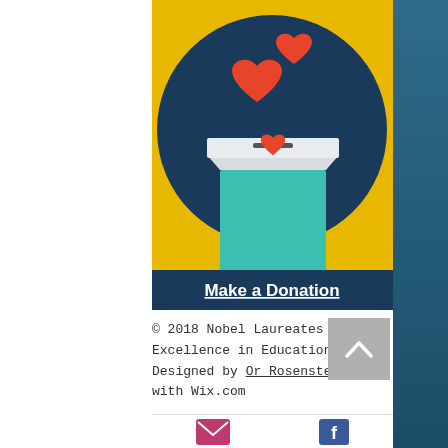[Figure (illustration): Donation box illustration: yellow background with dark navy circle, a teal/aqua donation box with a slot on top and red hearts floating above it]
Make a Donation
© 2018 Nobel Laureates for Excellence in Education. Designed by Or Rosenstein. with Wix.com
[Figure (infographic): Email icon (pink/magenta envelope) and Facebook icon (blue F) in bottom bar]